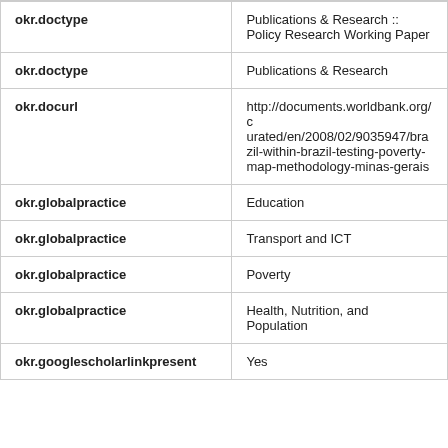| Field | Value |
| --- | --- |
| okr.doctype | Publications & Research :: Policy Research Working Paper |
| okr.doctype | Publications & Research |
| okr.docurl | http://documents.worldbank.org/curated/en/2008/02/9035947/brazil-within-brazil-testing-poverty-map-methodology-minas-gerais |
| okr.globalpractice | Education |
| okr.globalpractice | Transport and ICT |
| okr.globalpractice | Poverty |
| okr.globalpractice | Health, Nutrition, and Population |
| okr.googlescho​larlinkpresent | Yes |